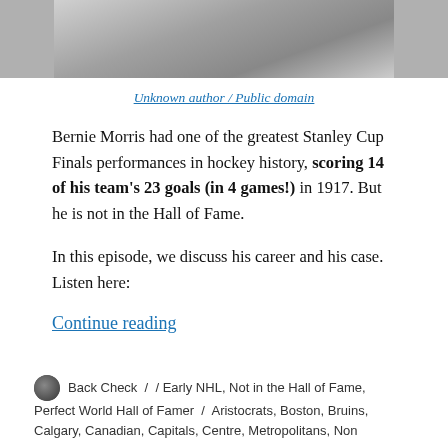[Figure (photo): Black and white partial photograph at the top of the page, cropped.]
Unknown author / Public domain
Bernie Morris had one of the greatest Stanley Cup Finals performances in hockey history, scoring 14 of his team's 23 goals (in 4 games!) in 1917. But he is not in the Hall of Fame.
In this episode, we discuss his career and his case. Listen here:
Continue reading
Back Check  /  / Early NHL, Not in the Hall of Fame, Perfect World Hall of Famer  /  Aristocrats, Boston, Bruins, Calgary, Canadian, Capitals, Centre, Metropolitans, Non